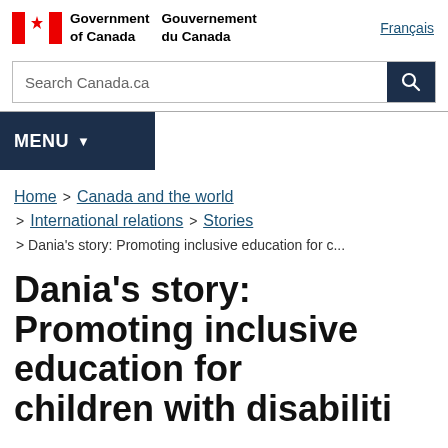Government of Canada / Gouvernement du Canada | Français
Search Canada.ca
MENU
Home > Canada and the world > International relations > Stories > Dania's story: Promoting inclusive education for c...
Dania's story: Promoting inclusive education for children with disabiliti